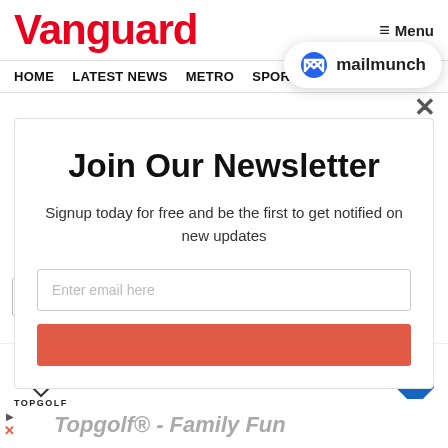Vanguard  ☰ Menu
HOME  LATEST NEWS  METRO  SPORTS  EN...  S
[Figure (screenshot): Mailmunch newsletter signup popup overlay with logo badge, close X button, title 'Join Our Newsletter', subtitle text, email input field, and red subscribe button]
Join Our Newsletter
Signup today for free and be the first to get notified on new updates
✓ Dine-in  ✗ Delivery
[Figure (logo): Topgolf logo with shield and golf ball icon, text TOPGOLF below]
Topgolf® - Family Fun